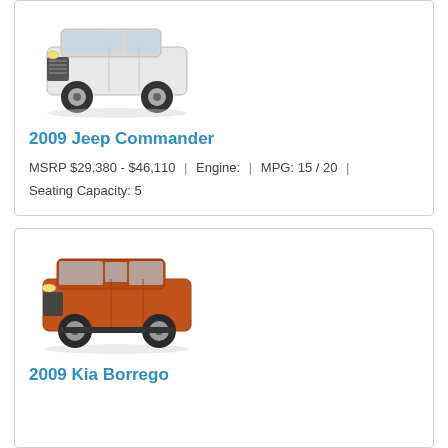[Figure (photo): 2009 Jeep Commander white SUV, front three-quarter view]
2009 Jeep Commander
MSRP $29,380 - $46,110 | Engine: | MPG: 15 / 20 | Seating Capacity: 5
[Figure (photo): 2009 Kia Borrego orange/copper SUV, front three-quarter view]
2009 Kia Borrego